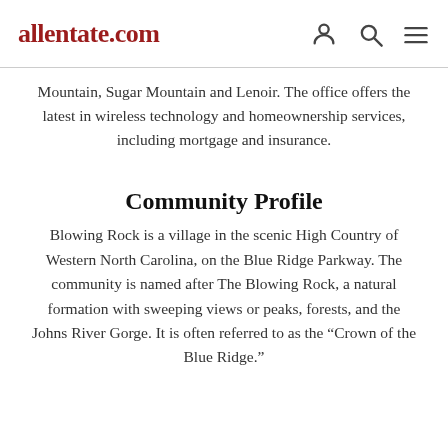allentate.com
Mountain, Sugar Mountain and Lenoir. The office offers the latest in wireless technology and homeownership services, including mortgage and insurance.
Community Profile
Blowing Rock is a village in the scenic High Country of Western North Carolina, on the Blue Ridge Parkway. The community is named after The Blowing Rock, a natural formation with sweeping views or peaks, forests, and the Johns River Gorge. It is often referred to as the “Crown of the Blue Ridge.”